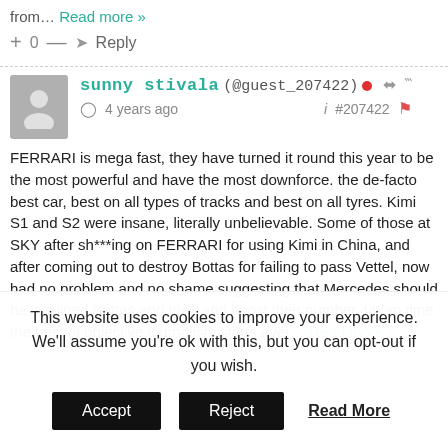from… Read more »
+ 0 — → Reply
sunny stivala (@guest_207422) 4 years ago i #207422
FERRARI is mega fast, they have turned it round this year to be the most powerful and have the most downforce. the de-facto best car, best on all types of tracks and best on all tyres. Kimi S1 and S2 were insane, literally unbelievable. Some of those at SKY after sh***ing on FERRARI for using Kimi in China, and after coming out to destroy Bottas for failing to pass Vettel, now had no problem and no shame suggesting that Mercedes should have ruined Bottas and tried and boost their number 44 lap time. the best of objective journalism starts ever... Read more »
This website uses cookies to improve your experience. We'll assume you're ok with this, but you can opt-out if you wish. Accept Reject Read More